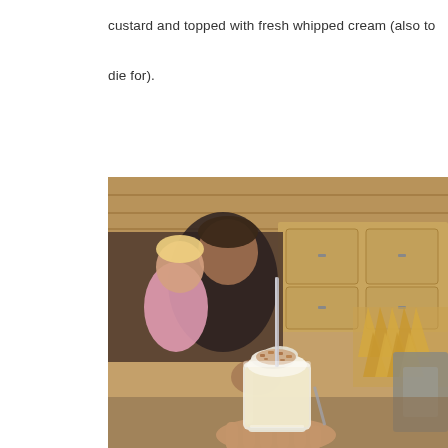custard and topped with fresh whipped cream (also to die for).
[Figure (photo): A close-up photo of a small glass cup filled with a creamy dessert drink topped with whipped cream and cinnamon/crumble topping, with a straw. In the background, a man in a black shirt holds a young child in a pink outfit, in a rustic wood-paneled kitchen. A rack of waffle cones is visible in the background right.]